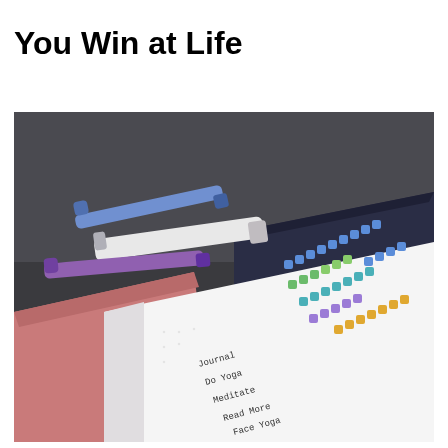You Win at Life
[Figure (photo): A bullet journal habit tracker open on a desk, showing colored square checkboxes next to handwritten habit labels (Journal, Do Yoga, Meditate, Read More, Face Yoga). Several pens and markers in blue, white, and purple are scattered on a dark fabric surface beside pink and navy notebooks.]